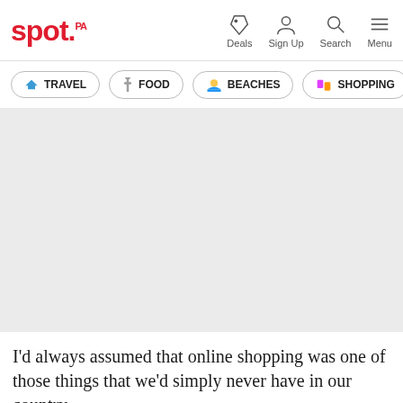spot. | Deals | Sign Up | Search | Menu
TRAVEL
FOOD
BEACHES
SHOPPING
[Figure (photo): Large gray placeholder image area]
I'd always assumed that online shopping was one of those things that we'd simply never have in our country